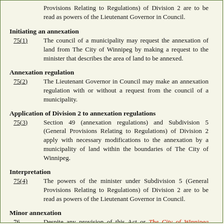Provisions Relating to Regulations) of Division 2 are to be read as powers of the Lieutenant Governor in Council.
Initiating an annexation
75(1) The council of a municipality may request the annexation of land from The City of Winnipeg by making a request to the minister that describes the area of land to be annexed.
Annexation regulation
75(2) The Lieutenant Governor in Council may make an annexation regulation with or without a request from the council of a municipality.
Application of Division 2 to annexation regulations
75(3) Section 49 (annexation regulations) and Subdivision 5 (General Provisions Relating to Regulations) of Division 2 apply with necessary modifications to the annexation by a municipality of land within the boundaries of The City of Winnipeg.
Interpretation
75(4) The powers of the minister under Subdivision 5 (General Provisions Relating to Regulations) of Division 2 are to be read as powers of the Lieutenant Governor in Council.
Minor annexation
76 Despite any provision of this Act or The City of Winnipeg Charter, the Lieutenant Governor in Council may by regulation annex